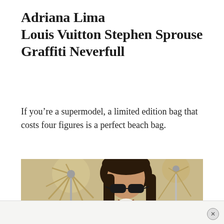Adriana Lima Louis Vuitton Stephen Sprouse Graffiti Neverfull
If you’re a supermodel, a limited edition bag that costs four figures is a perfect beach bag.
[Figure (photo): Photo of a young woman with long dark hair wearing black sunglasses, smiling outdoors near a beach umbrella. She wears a light pink top. The background shows a tan/beige beach umbrella structure.]